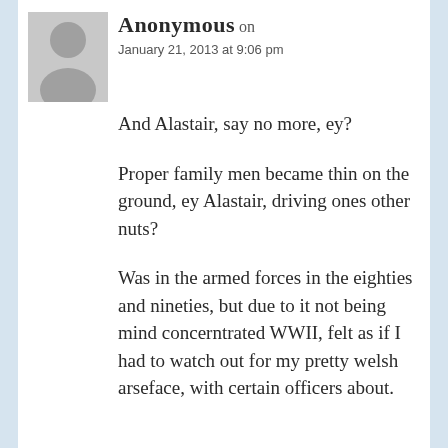[Figure (illustration): Default grey avatar/placeholder image of a person silhouette]
Anonymous on January 21, 2013 at 9:06 pm
And Alastair, say no more, ey?
Proper family men became thin on the ground, ey Alastair, driving ones other nuts?
Was in the armed forces in the eighties and nineties, but due to it not being mind concerntrated WWII, felt as if I had to watch out for my pretty welsh arseface, with certain officers about.